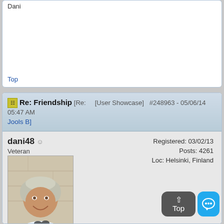Dani
Top
Re: Friendship [Re: [User Showcase] #248963 - 05/06/14 05:47 AM Jools B]
dani48 ☺
Veteran
Registered: 03/02/13
Posts: 4261
Loc: Helsinki, Finland
[Figure (photo): Profile photo of dani48, an older person with light gray/blonde hair wearing a white shirt, smiling, with sunglasses hanging from collar]
Hi, Jools !:))
So kind of you to